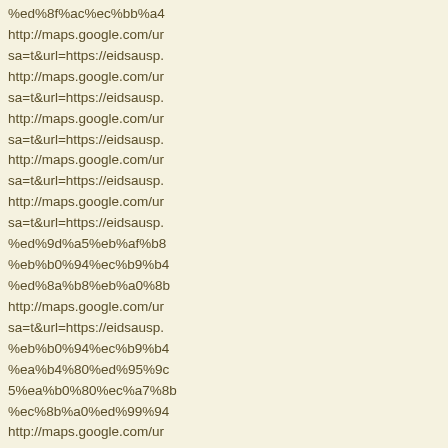%ed%8f%ac%ec%bb%a4
http://maps.google.com/ur
sa=t&url=https://eidsausp.
http://maps.google.com/ur
sa=t&url=https://eidsausp.
http://maps.google.com/ur
sa=t&url=https://eidsausp.
http://maps.google.com/ur
sa=t&url=https://eidsausp.
http://maps.google.com/ur
sa=t&url=https://eidsausp.
%ed%9d%a5%eb%af%b8
%eb%b0%94%ec%b9%b4
%ed%8a%b8%eb%a0%8b
http://maps.google.com/ur
sa=t&url=https://eidsausp.
%eb%b0%94%ec%b9%b4
%ea%b4%80%ed%95%9c
5%ea%b0%80%ec%a7%8l
%ec%8b%a0%ed%99%94
http://maps.google.com/ur
sa=t&url=https://eidsausp.
%eb%b2%94%ed%95%9l
5%ea%b0%80%ec%a7%8l
%ec%98%a8%eb%9d%b0
%eb%b0%94%ec%b9%b4
%ec%8b%a4%ec%88%9l